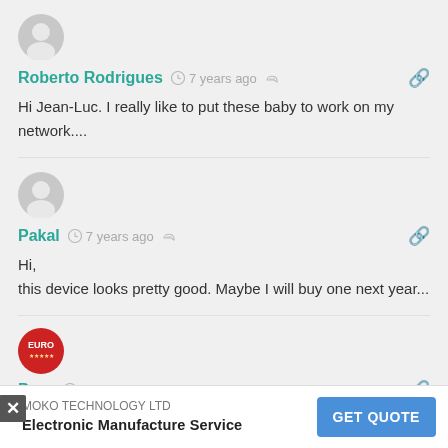[Figure (illustration): Gray user avatar circle icon]
Roberto Rodrigues  7 years ago
Hi Jean-Luc. I really like to put these baby to work on my network....
[Figure (illustration): Gray user avatar circle icon]
Pakal  7 years ago
Hi,
this device looks pretty good. Maybe I will buy one next year...
[Figure (logo): Euro logo red circular badge]
Pacc... 7 years ago
I wou... with bottcore and 64 GB of RAM. That would definitely
[Figure (infographic): Advertisement overlay: MOKO TECHNOLOGY LTD Electronic Manufacture Service with GET QUOTE button]